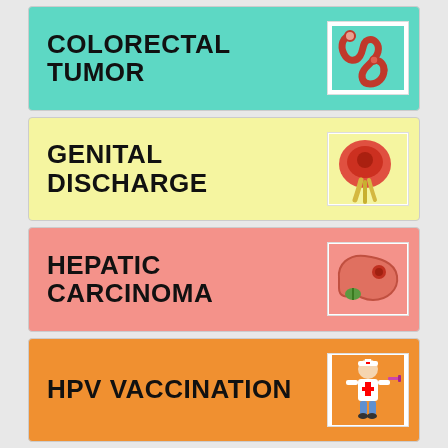[Figure (infographic): Medical topic card: COLORECTAL TUMOR on teal background with intestine illustration]
[Figure (infographic): Medical topic card: GENITAL DISCHARGE on yellow background with medical discharge illustration]
[Figure (infographic): Medical topic card: HEPATIC CARCINOMA on pink/salmon background with liver illustration]
[Figure (infographic): Medical topic card: HPV VACCINATION on orange background with nurse/doctor cartoon illustration]